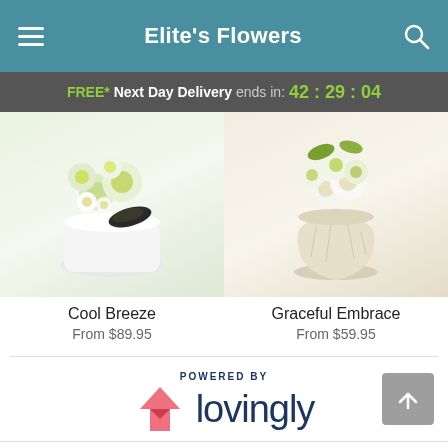Elite's Flowers
FREE* Next Day Delivery ends in: 42:29:04
[Figure (photo): Cool Breeze flower arrangement in white pot with green and white flowers and dark leaf accent]
Cool Breeze
From $89.95
[Figure (photo): Graceful Embrace flower arrangement in beige/cream crackle vase with white and green flowers]
Graceful Embrace
From $59.95
[Figure (logo): Powered by Lovingly logo with pink heart/envelope icon]
Start Order